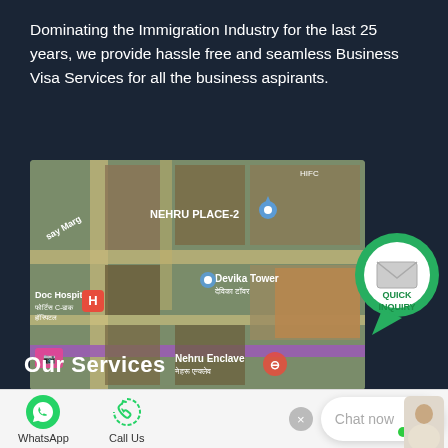Dominating the Immigration Industry for the last 25 years, we provide hassle free and seamless Business Visa Services for all the business aspirants.
[Figure (map): Google Maps satellite view showing Nehru Place-2, Devika Tower, Doc Hospital (Fortis C-DOC Hospital), and Nehru Enclave metro station in New Delhi, India.]
[Figure (infographic): Quick Inquiry button — circular green speech bubble with envelope icon and text QUICK INQUIRY]
Our Services
WhatsApp   Call Us   Chat now